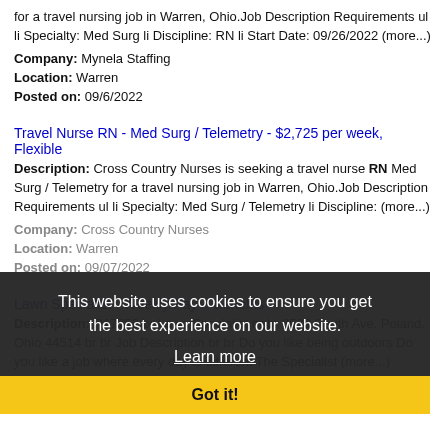for a travel nursing job in Warren, Ohio.Job Description Requirements ul li Specialty: Med Surg li Discipline: RN li Start Date: 09/26/2022 (more...)
Company: Mynela Staffing
Location: Warren
Posted on: 09/6/2022
Travel Nurse RN - Med Surg / Telemetry - $2,725 per week, Flexible
Description: Cross Country Nurses is seeking a travel nurse RN Med Surg / Telemetry for a travel nursing job in Warren, Ohio.Job Description Requirements ul li Specialty: Med Surg / Telemetry li Discipline: (more...)
Company: Cross Country Nurses
Location: Warren
Posted on: 09/07/2022
Lawn Specialist - Weekly Pay + Benefits
Description: R17752 br Lawn Specialist br br 8529 South Ave, Poland, Ohio 44514 br br Job Description br br Do you like being outdoors Do you like a job where every day is different The Specialist (more...)
Company: TruGreen
Location: Warren
This website uses cookies to ensure you get the best experience on our website.
Learn more
Got it!